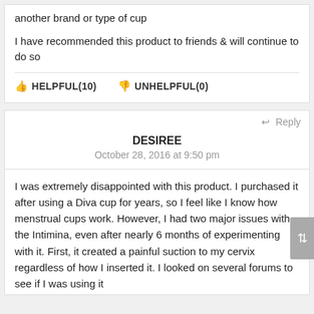another brand or type of cup
I have recommended this product to friends & will continue to do so
👍 HELPFUL(10)    👎 UNHELPFUL(0)
↩ Reply
DESIREE
October 28, 2016 at 9:50 pm
I was extremely disappointed with this product. I purchased it after using a Diva cup for years, so I feel like I know how menstrual cups work. However, I had two major issues with the Intimina, even after nearly 6 months of experimenting with it. First, it created a painful suction to my cervix regardless of how I inserted it. I looked on several forums to see if I was using it